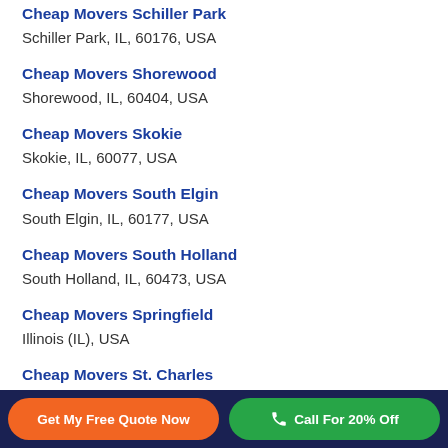Cheap Movers Schiller Park
Schiller Park, IL, 60176, USA
Cheap Movers Shorewood
Shorewood, IL, 60404, USA
Cheap Movers Skokie
Skokie, IL, 60077, USA
Cheap Movers South Elgin
South Elgin, IL, 60177, USA
Cheap Movers South Holland
South Holland, IL, 60473, USA
Cheap Movers Springfield
Illinois (IL), USA
Cheap Movers St. Charles
Saint Charles, IL, 60174, USA
Get My Free Quote Now | Call For 20% Off